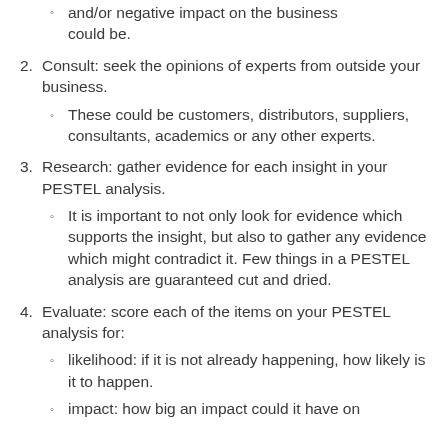and/or negative impact on the business could be.
2. Consult: seek the opinions of experts from outside your business.
These could be customers, distributors, suppliers, consultants, academics or any other experts.
3. Research: gather evidence for each insight in your PESTEL analysis.
It is important to not only look for evidence which supports the insight, but also to gather any evidence which might contradict it. Few things in a PESTEL analysis are guaranteed cut and dried.
4. Evaluate: score each of the items on your PESTEL analysis for:
likelihood: if it is not already happening, how likely is it to happen.
impact: how big an impact could it have on